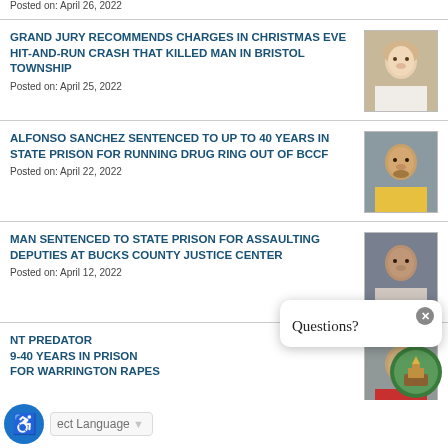Posted on: April 26, 2022
GRAND JURY RECOMMENDS CHARGES IN CHRISTMAS EVE HIT-AND-RUN CRASH THAT KILLED MAN IN BRISTOL TOWNSHIP
Posted on: April 25, 2022
ALFONSO SANCHEZ SENTENCED TO UP TO 40 YEARS IN STATE PRISON FOR RUNNING DRUG RING OUT OF BCCF
Posted on: April 22, 2022
MAN SENTENCED TO STATE PRISON FOR ASSAULTING DEPUTIES AT BUCKS COUNTY JUSTICE CENTER
Posted on: April 12, 2022
... NT PREDATOR ... 9-40 YEARS IN PRISON FOR WARRINGTON RAPES
Posted on: April 6, 2022